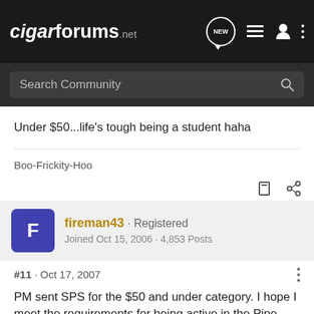cigarforums.net
Under $50...life's tough being a student haha
Boo-Frickity-Hoo
fireman43 · Registered
Joined Oct 15, 2006 · 4,853 Posts
#11 · Oct 17, 2007
PM sent SPS for the $50 and under category. I hope I meet the requirements for being active in the Pipe Forum.